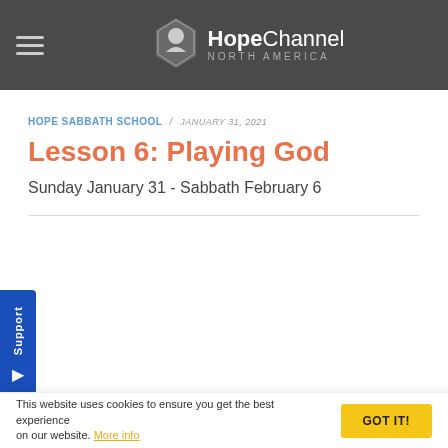HopeChannel NORTH AMERICA
HOPE SABBATH SCHOOL / JANUARY 31, 2021
Lesson 6: Playing God
Sunday January 31 - Sabbath February 6
Support
This website uses cookies to ensure you get the best experience on our website. More info